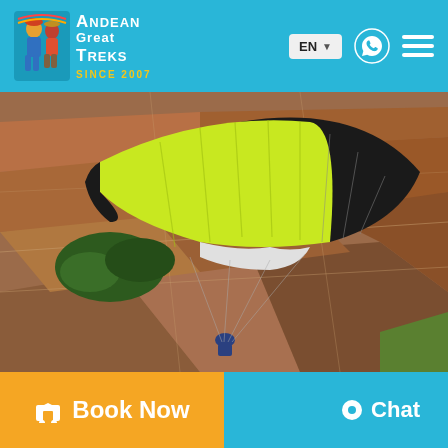Andean Great Treks — Since 2007 | EN | WhatsApp | Menu
[Figure (photo): Aerial view paraglider with yellow-green and black canopy flying over red/brown patchwork farmland fields from high altitude, pilot visible below canopy]
Book Now
Chat